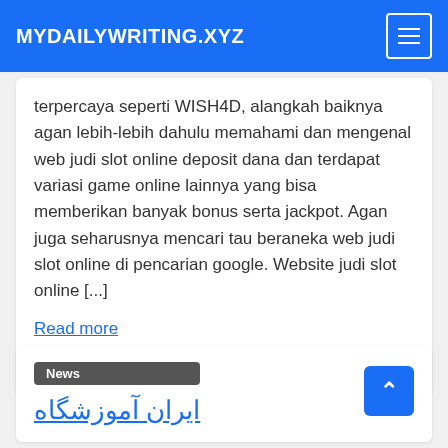MYDAILYWRITING.XYZ
terpercaya seperti WISH4D, alangkah baiknya agan lebih-lebih dahulu memahami dan mengenal web judi slot online deposit dana dan terdapat variasi game online lainnya yang bisa memberikan banyak bonus serta jackpot. Agan juga seharusnya mencari tau beraneka web judi slot online di pencarian google. Website judi slot online [...]
Read more
Tagged wish4d
News
ایران آموزشگاه